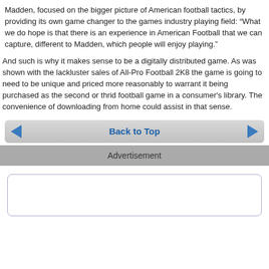Madden, focused on the bigger picture of American football tactics, by providing its own game changer to the games industry playing field: “What we do hope is that there is an experience in American Football that we can capture, different to Madden, which people will enjoy playing.”
And such is why it makes sense to be a digitally distributed game. As was shown with the lackluster sales of All-Pro Football 2K8 the game is going to need to be unique and priced more reasonably to warrant it being purchased as the second or thrid football game in a consumer's library. The convenience of downloading from home could assist in that sense.
Back to Top
Advertisement